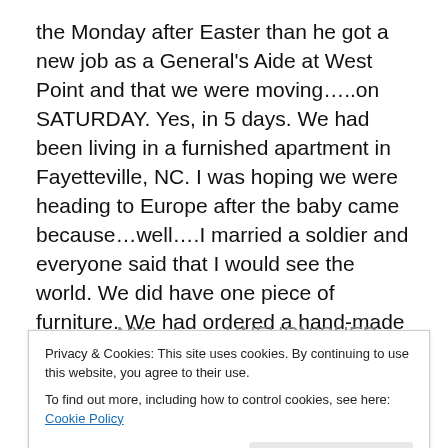the Monday after Easter than he got a new job as a General's Aide at West Point and that we were moving…..on SATURDAY. Yes, in 5 days. We had been living in a furnished apartment in Fayetteville, NC. I was hoping we were heading to Europe after the baby came because…well….I married a soldier and everyone said that I would see the world. We did have one piece of furniture. We had ordered a hand-made North Carolina rocking chair to have to rock our baby. It and our wedding gifts would be the only possessions we would have to move to NY… to an UNFURNISHED apartment. Hmmm…
Privacy & Cookies: This site uses cookies. By continuing to use this website, you agree to their use.
To find out more, including how to control cookies, see here: Cookie Policy
live in my third trimester with baby #2! And SO we were